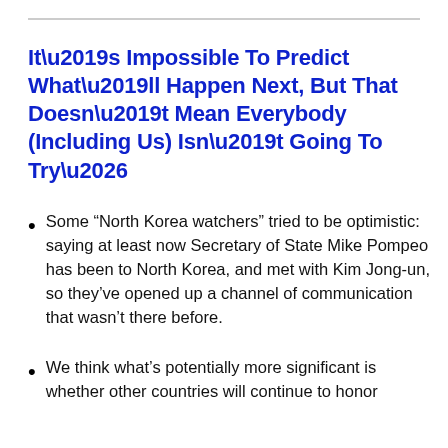It’s Impossible To Predict What’ll Happen Next, But That Doesn’t Mean Everybody (Including Us) Isn’t Going To Try…
Some “North Korea watchers” tried to be optimistic: saying at least now Secretary of State Mike Pompeo has been to North Korea, and met with Kim Jong-un, so they’ve opened up a channel of communication that wasn’t there before.
We think what’s potentially more significant is whether other countries will continue to honor